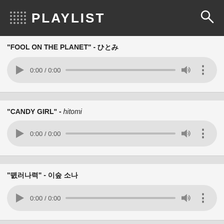PLAYLIST
"FOOL ON THE PLANET" - [Japanese characters]
[Figure (screenshot): Audio player widget showing 0:00 / 0:00 with play button, progress bar, volume and more icons]
"CANDY GIRL" - hitomi
[Figure (screenshot): Audio player widget showing 0:00 / 0:00 with play button, progress bar, volume and more icons]
"[Japanese characters]" - [Korean characters]
[Figure (screenshot): Audio player widget showing 0:00 / 0:00 with play button, progress bar, volume and more icons]
"Good Times,Bad Times(Bed Side Version)" - [Japanese characters]
[Figure (screenshot): Audio player widget showing 0:00 / 0:00 (partially visible)]